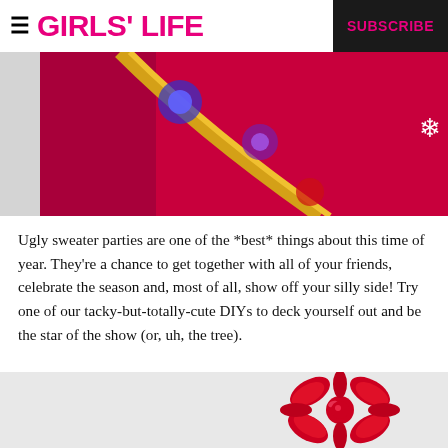GIRLS' LIFE  SUBSCRIBE
[Figure (photo): Close-up of a red ugly Christmas sweater with gold tinsel, colorful lights (blue, red, purple), and a white snowflake decoration on a light background.]
Ugly sweater parties are one of the *best* things about this time of year. They're a chance to get together with all of your friends, celebrate the season and, most of all, show off your silly side! Try one of our tacky-but-totally-cute DIYs to deck yourself out and be the star of the show (or, uh, the tree).
[Figure (photo): A shiny red gift bow/ribbon decoration on a light gray/white background, positioned toward the right side of the image.]